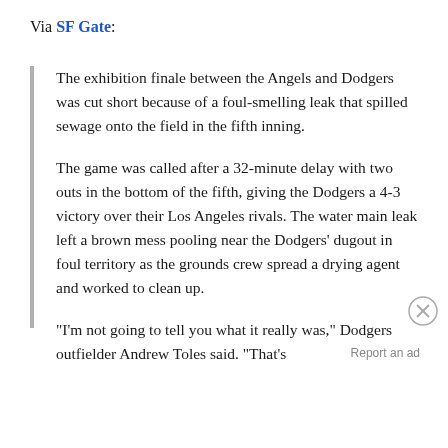Via SF Gate:
The exhibition finale between the Angels and Dodgers was cut short because of a foul-smelling leak that spilled sewage onto the field in the fifth inning.
The game was called after a 32-minute delay with two outs in the bottom of the fifth, giving the Dodgers a 4-3 victory over their Los Angeles rivals. The water main leak left a brown mess pooling near the Dodgers' dugout in foul territory as the grounds crew spread a drying agent and worked to clean up.
"I'm not going to tell you what it really was," Dodgers outfielder Andrew Toles said. "That's
Report an ad